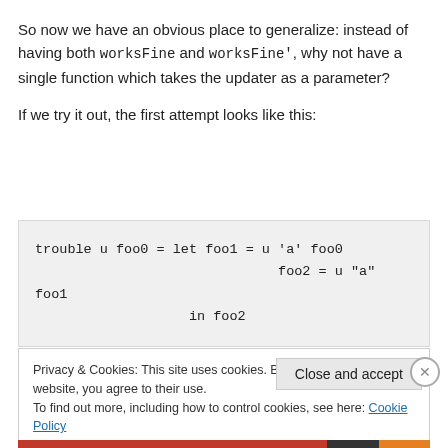So now we have an obvious place to generalize: instead of having both worksFine and worksFine', why not have a single function which takes the updater as a parameter?
If we try it out, the first attempt looks like this:
Privacy & Cookies: This site uses cookies. By continuing to use this website, you agree to their use.
To find out more, including how to control cookies, see here: Cookie Policy